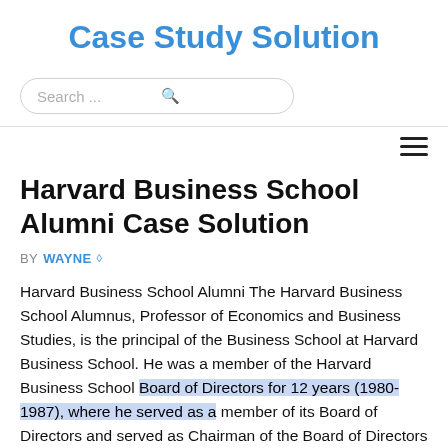Case Study Solution
[Figure (other): Search bar with rounded border and search icon]
Harvard Business School Alumni Case Solution
BY WAYNE ◇
Harvard Business School Alumni The Harvard Business School Alumnus, Professor of Economics and Business Studies, is the principal of the Business School at Harvard Business School. He was a member of the Harvard Business School Board of Directors for 12 years (1980-1987), where he served as a member of its Board of Directors and served as Chairman of the Board of Directors until his retirement in 1992. He is the